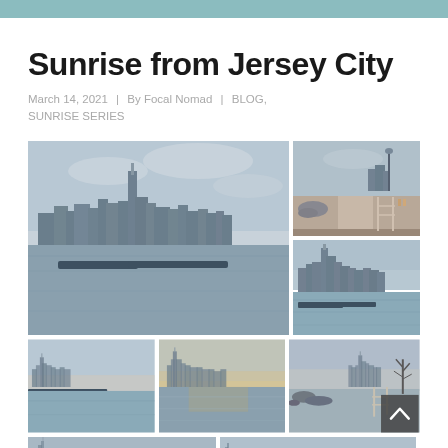Sunrise from Jersey City
March 14, 2021  |  By Focal Nomad  |  BLOG, SUNRISE SERIES
[Figure (photo): Gallery of 7 photos showing the New York City skyline and waterfront at sunrise as seen from Jersey City, NJ. Photos include wide panoramic views of the Manhattan skyline with One World Trade Center, a boardwalk path leading toward the city, closer views of the skyline from various angles, and waterfront scenes.]